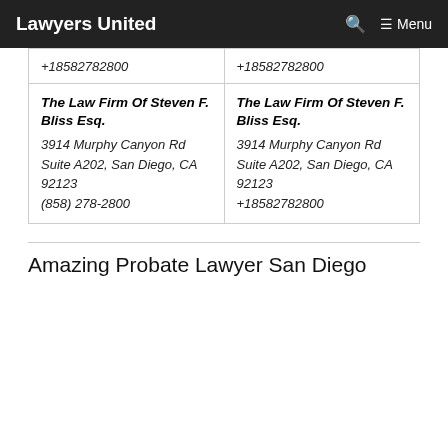Lawyers United   🔍   ≡ Menu
| +18582782800 | +18582782800 |
| The Law Firm Of Steven F. Bliss Esq.
3914 Murphy Canyon Rd Suite A202, San Diego, CA 92123
(858) 278-2800 | The Law Firm Of Steven F. Bliss Esq.
3914 Murphy Canyon Rd Suite A202, San Diego, CA 92123
+18582782800 |
Amazing Probate Lawyer San Diego